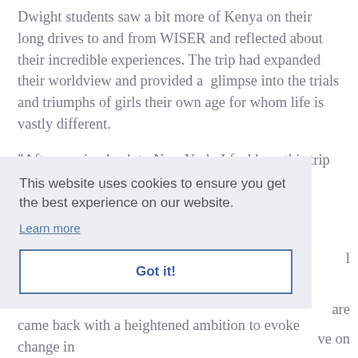Dwight students saw a bit more of Kenya on their long drives to and from WISER and reflected about their incredible experiences. The trip had expanded their worldview and provided a glimpse into the trials and triumphs of girls their own age for whom life is vastly different.
“After coming back to New York, I feel how this trip really has impacted me in long-lasting way,” says Maya Singh ’22. “I am more aware of challenges people face locally and around the world, and I’m more aware on a daily
This website uses cookies to ensure you get the best experience on our website.
Learn more
Got it!
came back with a heightened ambition to evoke change in